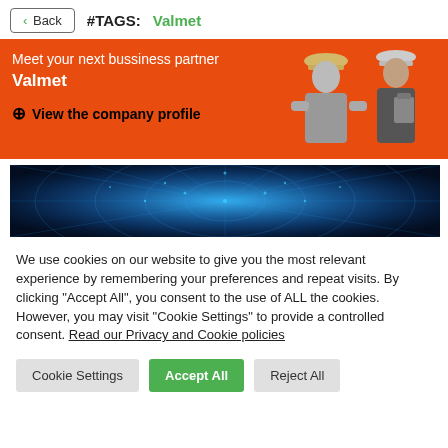< Back  #TAGS:  Valmet
[Figure (illustration): Orange banner advertisement with text 'Meet your next bussiness partner Valmet' and a link 'View the company profile'. On the right side, grayscale images of two people in hard hats/business attire on an orange background.]
[Figure (photo): Blue glowing digital/technology abstract image showing a network or tunnel of light points on dark blue background.]
We use cookies on our website to give you the most relevant experience by remembering your preferences and repeat visits. By clicking "Accept All", you consent to the use of ALL the cookies. However, you may visit "Cookie Settings" to provide a controlled consent. Read our Privacy and Cookie policies
Cookie Settings | Accept All | Reject All